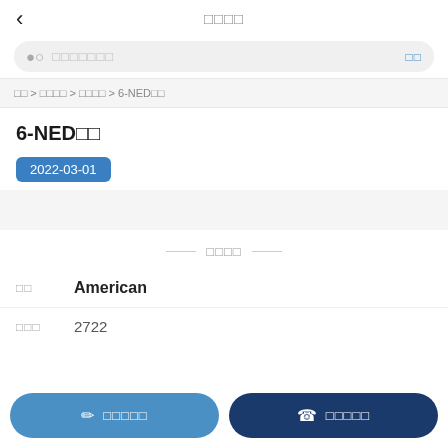□□□□
Q □□□□□□□  □□
□□ > □□□□ > □□□□ > 6-NED□□
6-NED□□
2022-03-01
— □□□□ —
□□  American
□□□  2722
✏ □□□□□  ☎ □□□□□